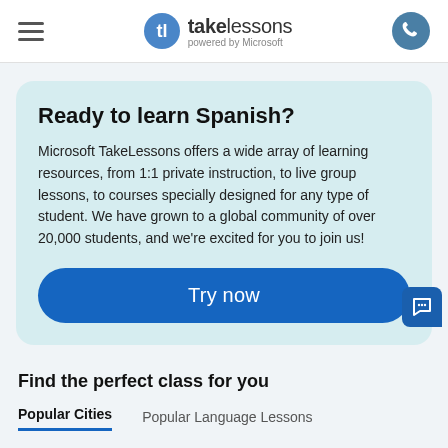takelessons powered by Microsoft
Ready to learn Spanish?
Microsoft TakeLessons offers a wide array of learning resources, from 1:1 private instruction, to live group lessons, to courses specially designed for any type of student. We have grown to a global community of over 20,000 students, and we're excited for you to join us!
Try now
Find the perfect class for you
Popular Cities	Popular Language Lessons